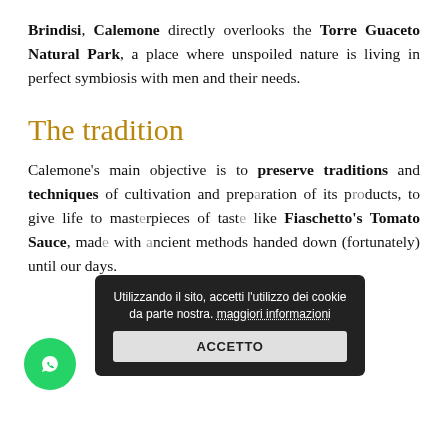Brindisi, Calemone directly overlooks the Torre Guaceto Natural Park, a place where unspoiled nature is living in perfect symbiosis with men and their needs.
The tradition
Calemone's main objective is to preserve traditions and techniques of cultivation and preparation of its products, to give life to masterpieces of taste like Fiaschetto's Tomato Sauce, made with ancient methods handed down (fortunately) until our days.
[Figure (screenshot): Cookie consent popup overlay with dark background showing Italian text: 'Utilizzando il sito, accetti l'utilizzo dei cookie da parte nostra. maggiori informazioni' with an ACCETTO button]
[Figure (illustration): Green circular WhatsApp button with phone icon in the lower left area of the page]